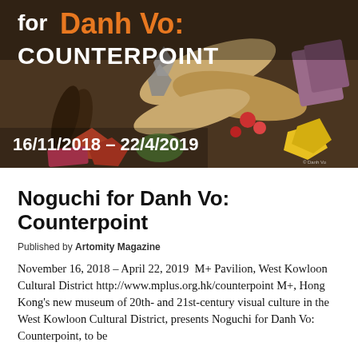[Figure (photo): Exhibition promotional image for Noguchi for Danh Vo: Counterpoint. Shows text 'for Danh Vo: COUNTERPOINT' with orange and white lettering over a photograph of sculptural objects including wooden, ceramic, and colorful forms. Date text '16/11/2018 – 22/4/2019' appears in white at the bottom left.]
Noguchi for Danh Vo: Counterpoint
Published by Artomity Magazine
November 16, 2018 – April 22, 2019  M+ Pavilion, West Kowloon Cultural District http://www.mplus.org.hk/counterpoint M+, Hong Kong's new museum of 20th- and 21st-century visual culture in the West Kowloon Cultural District, presents Noguchi for Danh Vo: Counterpoint, to be